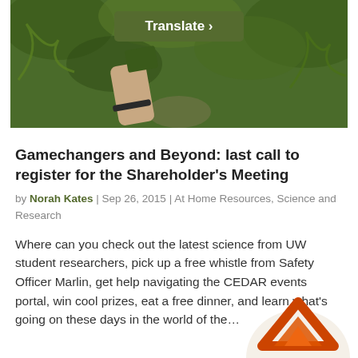[Figure (photo): A hand holding a small item against a forest background with ferns and greenery, with a dark olive green 'Translate ›' button overlay at the top center]
Gamechangers and Beyond: last call to register for the Shareholder's Meeting
by Norah Kates | Sep 26, 2015 | At Home Resources, Science and Research
Where can you check out the latest science from UW student researchers, pick up a free whistle from Safety Officer Marlin, get help navigating the CEDAR events portal, win cool prizes, eat a free dinner, and learn what's going on these days in the world of the…
[Figure (illustration): Partial illustration visible at bottom right, appears to be a logo or icon with orange/red arrow shapes on a cream background]